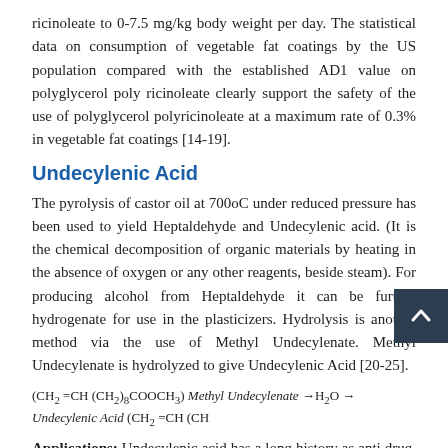ricinoleate to 0-7.5 mg/kg body weight per day. The statistical data on consumption of vegetable fat coatings by the US population compared with the established AD1 value on polyglycerol poly ricinoleate clearly support the safety of the use of polyglycerol polyricinoleate at a maximum rate of 0.3% in vegetable fat coatings [14-19].
Undecylenic Acid
The pyrolysis of castor oil at 700oC under reduced pressure has been used to yield Heptaldehyde and Undecylenic acid. (It is the chemical decomposition of organic materials by heating in the absence of oxygen or any other reagents, beside steam). For producing alcohol from Heptaldehyde it can be further hydrogenate for use in the plasticizers. Hydrolysis is another method via the use of Methyl Undecylenate. Methyl Undecylenate is hydrolyzed to give Undecylenic Acid [20-25].
Applications: Undecylenic acid has a long history as anti drug. Many types of fungal infections can be treated with its application. Undecylenic acid can be used as a surfactant in hair lotions and as biocide in soaps and deodorants. It goes as a starting material for Nylon 11 [25-27].